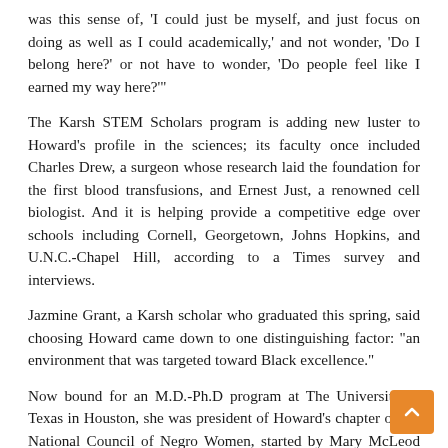was this sense of, 'I could just be myself, and just focus on doing as well as I could academically,' and not wonder, 'Do I belong here?' or not have to wonder, 'Do people feel like I earned my way here?'
The Karsh STEM Scholars program is adding new luster to Howard's profile in the sciences; its faculty once included Charles Drew, a surgeon whose research laid the foundation for the first blood transfusions, and Ernest Just, a renowned cell biologist. And it is helping provide a competitive edge over schools including Cornell, Georgetown, Johns Hopkins, and U.N.C.-Chapel Hill, according to a Times survey and interviews.
Jazmine Grant, a Karsh scholar who graduated this spring, said choosing Howard came down to one distinguishing factor: "an environment that was targeted toward Black excellence."
Now bound for an M.D.-Ph.D program at The University of Texas in Houston, she was president of Howard's chapter of the National Council of Negro Women, started by Mary McLeod Bethune — a civil rights activist whose footsteps she hopes to follow.